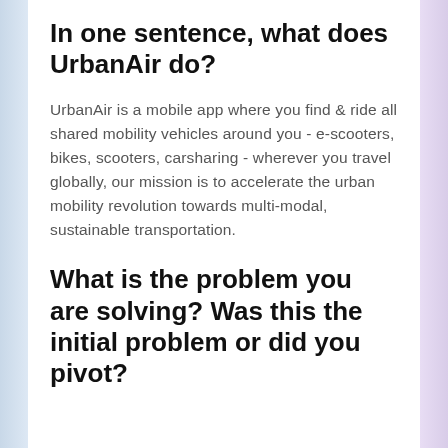In one sentence, what does UrbanAir do?
UrbanAir is a mobile app where you find & ride all shared mobility vehicles around you - e-scooters, bikes, scooters, carsharing - wherever you travel globally, our mission is to accelerate the urban mobility revolution towards multi-modal, sustainable transportation.
What is the problem you are solving? Was this the initial problem or did you pivot?